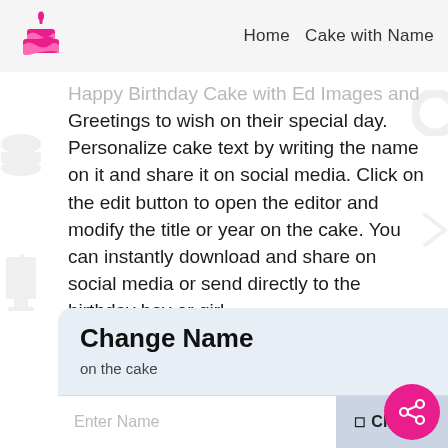Home  Cake with Name
[Figure (logo): Pink birthday cake icon with candle, used as site logo]
Happy Birthday Cake with Ed Images and Greetings to wish on their special day. Personalize cake text by writing the name on it and share it on social media. Click on the edit button to open the editor and modify the title or year on the cake. You can instantly download and share on social media or send directly to the birthday boy or girl.
Change Name
on the cake
Enter Name
Change